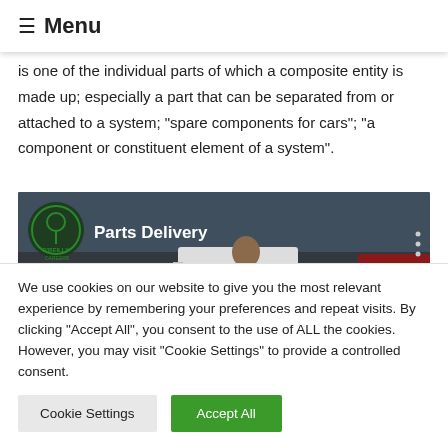≡ Menu
is one of the individual parts of which a composite entity is made up; especially a part that can be separated from or attached to a system; "spare components for cars"; "a component or constituent element of a system".
[Figure (screenshot): Video thumbnail showing O'Reilly Careers Parts Delivery video with text 'Parts Delivery' and 'Parts Delivery' overlaid on an image of a delivery driver and vehicles.]
We use cookies on our website to give you the most relevant experience by remembering your preferences and repeat visits. By clicking "Accept All", you consent to the use of ALL the cookies. However, you may visit "Cookie Settings" to provide a controlled consent.
Cookie Settings
Accept All